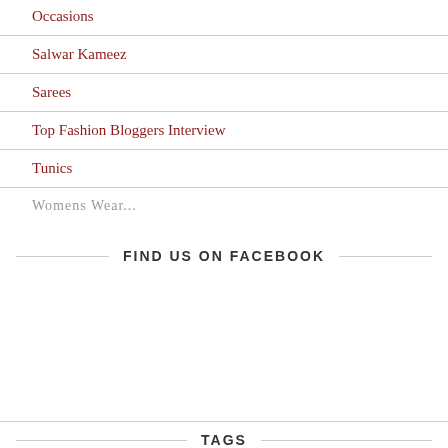Occasions
Salwar Kameez
Sarees
Top Fashion Bloggers Interview
Tunics
Womens Wear...
FIND US ON FACEBOOK
TAGS